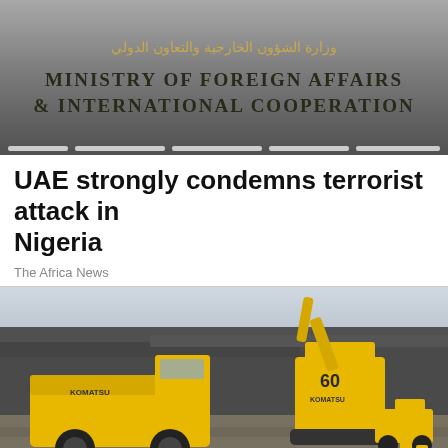[Figure (photo): UAE Ministry of Foreign Affairs & International Cooperation header banner with gray gradient background and Arabic script above English text]
UAE strongly condemns terrorist attack in Nigeria
The Africa News
[Figure (photo): Mining scene showing large yellow Komatsu dump truck and excavator with number 60 markings, working in an open-pit mine with dark rocky terrain]
Tesla signs deal to buy EV battery minerals from